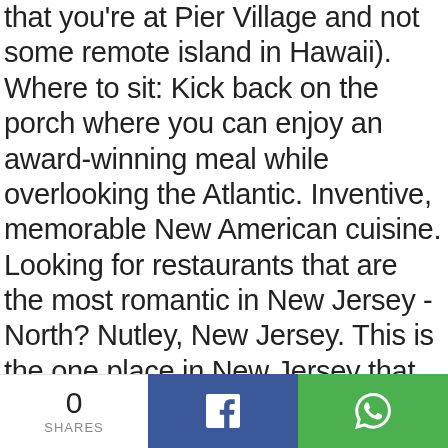that you're at Pier Village and not some remote island in Hawaii). Where to sit: Kick back on the porch where you can enjoy an award-winning meal while overlooking the Atlantic. Inventive, memorable New American cuisine. Looking for restaurants that are the most romantic in New Jersey - North? Nutley, New Jersey. This is the one place in New Jersey that give you both comfort and fine dining all in one place. What better way to enjoy a date night than with creative menus and views that can't be beat? We already have this email. Here's what you'll tell your friends the day after dining at Liberty House: "That view! Go right to the edge of New
0 SHARES [Facebook share] [WhatsApp share]